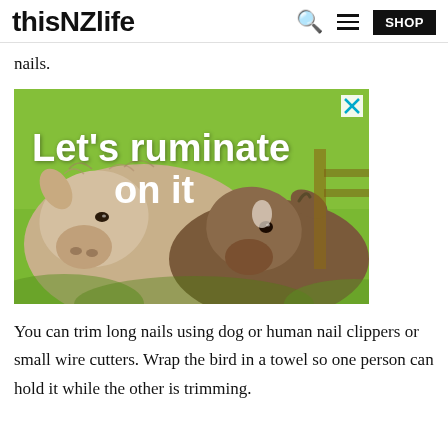thisNZlife — navigation with search, menu, and SHOP button
nails.
[Figure (photo): Advertisement banner featuring two goats (an adult and a kid) nuzzling each other against a green background. Bold white text reads 'Let's ruminate on it'. A small X close button is in the top-right corner.]
You can trim long nails using dog or human nail clippers or small wire cutters. Wrap the bird in a towel so one person can hold it while the other is trimming.